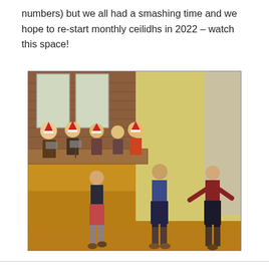numbers) but we all had a smashing time and we hope to re-start monthly ceilidhs in 2022 – watch this space!
[Figure (photo): People dancing a ceilidh in a hall with wooden floor. A band with musicians wearing Christmas hats is visible in the background on a stage area near brick walls and mirrors. Three people are visible in the foreground dancing, one in a dark t-shirt and red shorts, and two others in blue and red tops.]